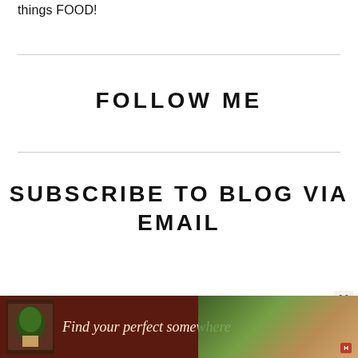things FOOD!
FOLLOW ME
SUBSCRIBE TO BLOG VIA EMAIL
[Figure (other): Advertisement banner: 'Find your perfect somewhere' with dark red/brown background and outdoor imagery, hotels.com logo]